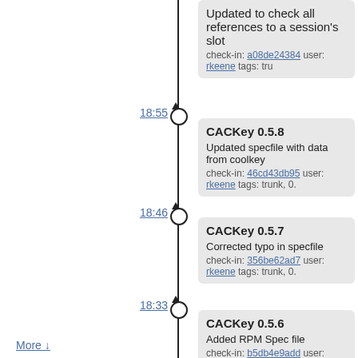Updated to check all references to a session's slot
check-in: a08de24384 user: rkeene tags: tru
18:55
CACKey 0.5.8
Updated specfile with data from coolkey
check-in: 46cd43db95 user: rkeene tags: trunk, 0.
18:46
CACKey 0.5.7
Corrected typo in specfile
check-in: 356be62ad7 user: rkeene tags: trunk, 0.
18:33
CACKey 0.5.6
Added RPM Spec file
check-in: b5db4e9add user: rkeene tags: trunk, 0.
2010-05-21
22:09
Updated comments regarding bug in GDM
check-in: dd81bbaf7e user: rkeene tags: tru
More ↓